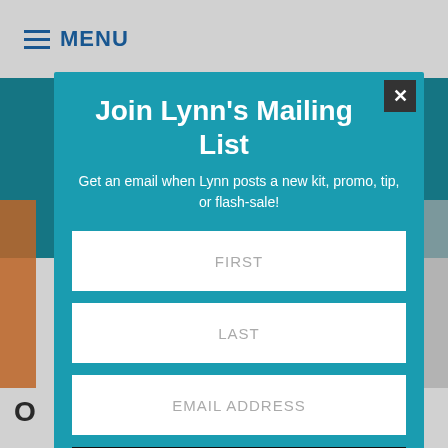MENU
Join Lynn's Mailing List
Get an email when Lynn posts a new kit, promo, tip, or flash-sale!
FIRST
LAST
EMAIL ADDRESS
SUBSCRIBE
Thank you!